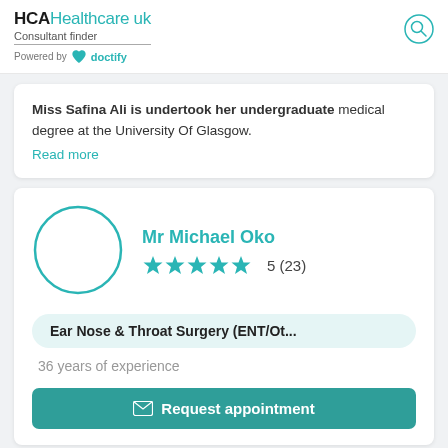HCA Healthcare uk
Consultant finder
Powered by doctify
Miss Safina Ali is undertook her undergraduate medical degree at the University Of Glasgow.
Read more
Mr Michael Oko
5 (23)
Ear Nose & Throat Surgery (ENT/Ot...
36 years of experience
Request appointment